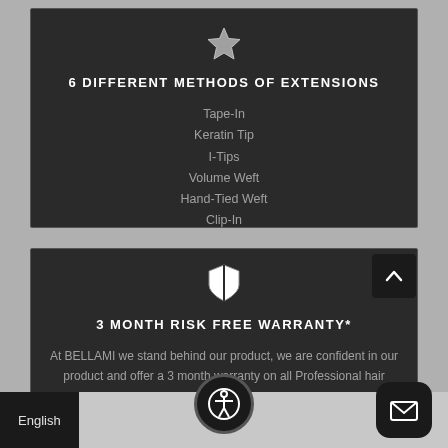[Figure (illustration): Star icon (outlined/filled silver star)]
6 DIFFERENT METHODS OF EXTENSIONS
Tape-In
Keratin Tip
I-Tips
Volume Weft
Hand-Tied Weft
Clip-In
[Figure (illustration): Shield icon (white shield with black vertical divider)]
3 MONTH RISK FREE WARRANTY*
At BELLAMI we stand behind our product, we are confident in our product and offer a 3 month warranty on all Professional hair extensions
English